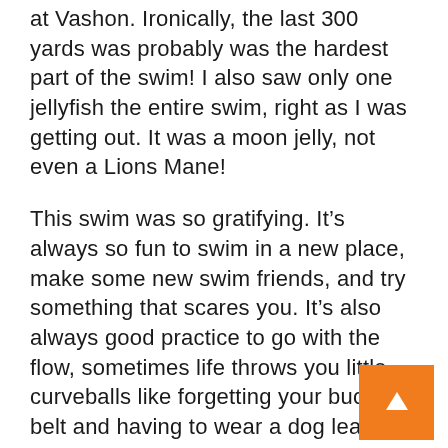at Vashon. Ironically, the last 300 yards was probably was the hardest part of the swim! I also saw only one jellyfish the entire swim, right as I was getting out. It was a moon jelly, not even a Lions Mane!
This swim was so gratifying. It’s always so fun to swim in a new place, make some new swim friends, and try something that scares you. It’s also always good practice to go with the flow, sometimes life throws you little curveballs like forgetting your buoy belt and having to wear a dog leash.
Some key tips for repeating this route:
Take the ferry from Southworth there and back - it means less